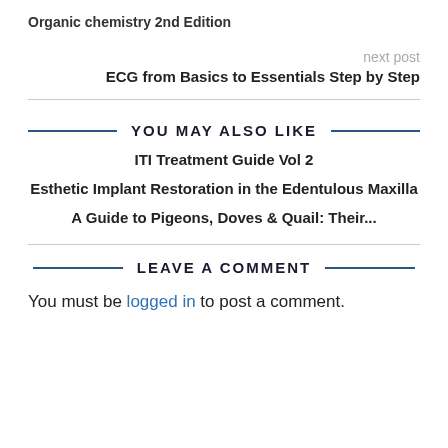Organic chemistry 2nd Edition
next post
ECG from Basics to Essentials Step by Step
YOU MAY ALSO LIKE
ITI Treatment Guide Vol 2
Esthetic Implant Restoration in the Edentulous Maxilla
A Guide to Pigeons, Doves & Quail: Their...
LEAVE A COMMENT
You must be logged in to post a comment.